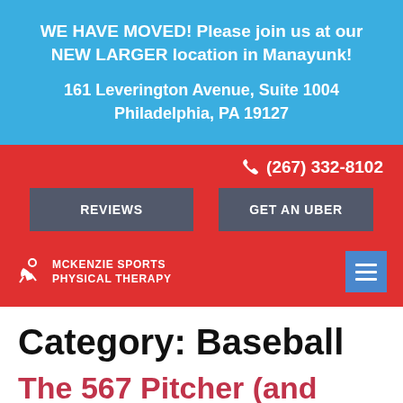WE HAVE MOVED! Please join us at our NEW LARGER location in Manayunk!
161 Leverington Avenue, Suite 1004
Philadelphia, PA 19127
(267) 332-8102
REVIEWS
GET AN UBER
[Figure (logo): McKenzie Sports Physical Therapy logo with figure icon]
Category: Baseball
The 567 Pitcher (and other